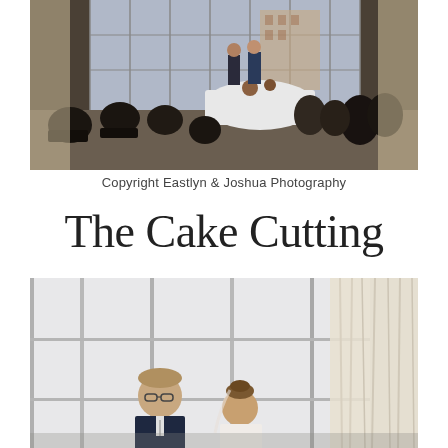[Figure (photo): Wedding reception scene with guests seated at tables in a dark room with large windows behind; two people standing near a white-cloth table at center, city building visible outside through windows.]
Copyright Eastlyn & Joshua Photography
The Cake Cutting
[Figure (photo): Couple at cake cutting ceremony near large windows with sheer curtains; groom with glasses on left, bride with updo on right, bright light from windows behind them.]